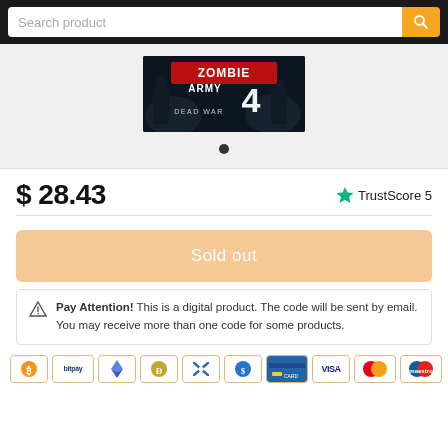[Figure (screenshot): Search bar with 'Search product' placeholder text and an orange search button with magnifying glass icon]
[Figure (photo): Zombie Army 4: Dead War game cover art — dark atmospheric image with red stylized logo text and the number 4]
$ 28.43
TrustScore 5
Sold out
Pay Attention! This is a digital product. The code will be sent by email. You may receive more than one code for some products.
[Figure (logo): Payment method icons: Bitcoin, BitPay, Ethereum, Dogecoin, XRP, USD Coin, credit card, VISA, Mastercard, Maestro]